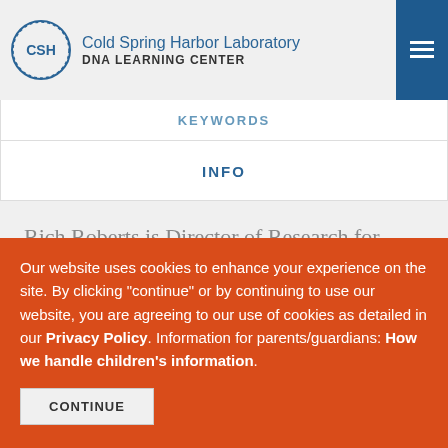Cold Spring Harbor Laboratory DNA Learning Center
KEYWORDS
INFO
Rich Roberts is Director of Research for New England Biolabs, one of the first commercial sources for restriction enzymes that is today a leading
Our website uses cookies to enhance your experience on the site. By clicking "continue" or by continuing to use our website, you are agreeing to our use of cookies as detailed in our Privacy Policy. Information for parents/guardians: How we handle children's information.